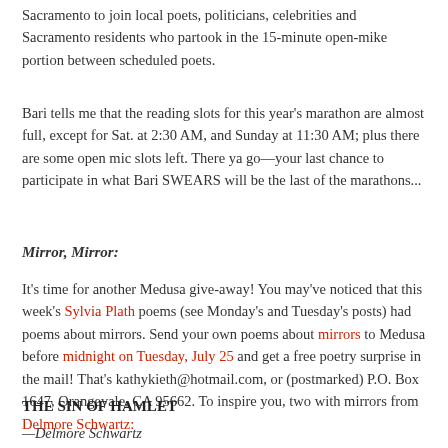Sacramento to join local poets, politicians, celebrities and Sacramento residents who partook in the 15-minute open-mike portion between scheduled poets.
Bari tells me that the reading slots for this year's marathon are almost full, except for Sat. at 2:30 AM, and Sunday at 11:30 AM; plus there are some open mic slots left. There ya go—your last chance to participate in what Bari SWEARS will be the last of the marathons...
Mirror, Mirror:
It's time for another Medusa give-away! You may've noticed that this week's Sylvia Plath poems (see Monday's and Tuesday's posts) had poems about mirrors. Send your own poems about mirrors to Medusa before midnight on Tuesday, July 25 and get a free poetry surprise in the mail! That's kathykieth@hotmail.com, or (postmarked) P.O. Box 1647, Orangevale, CA 95662. To inspire you, two with mirrors from Delmore Schwartz:
THE SIN OF HAMLET
—Delmore Schwartz